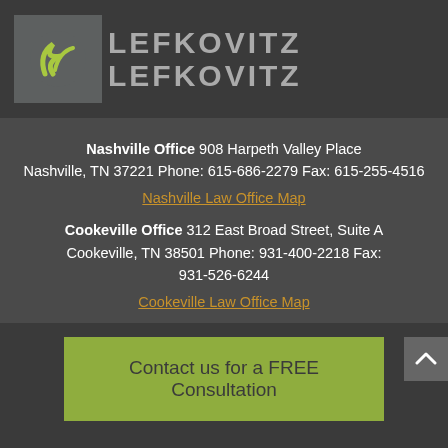[Figure (logo): Lefkovitz & Lefkovitz law firm logo with ampersand icon and firm name in gray text]
Nashville Office 908 Harpeth Valley Place Nashville, TN 37221 Phone: 615-686-2279 Fax: 615-255-4516
Nashville Law Office Map
Cookeville Office 312 East Broad Street, Suite A Cookeville, TN 38501 Phone: 931-400-2218 Fax: 931-526-6244
Cookeville Law Office Map
Contact us for a FREE Consultation
[Figure (other): Social media icons: Facebook, Twitter, LinkedIn]